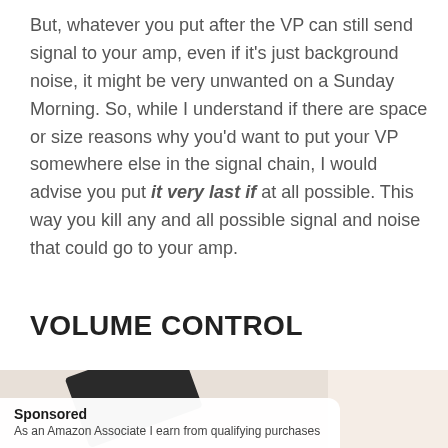But, whatever you put after the VP can still send signal to your amp, even if it's just background noise, it might be very unwanted on a Sunday Morning. So, while I understand if there are space or size reasons why you'd want to put your VP somewhere else in the signal chain, I would advise you put it very last if at all possible. This way you kill any and all possible signal and noise that could go to your amp.
VOLUME CONTROL
[Figure (photo): Partially visible product image with dark object on a warm beige/tan background]
Sponsored
As an Amazon Associate I earn from qualifying purchases